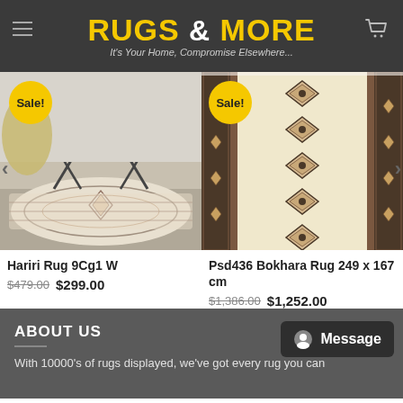RUGS & MORE — It's Your Home, Compromise Elsewhere...
[Figure (photo): Hariri Rug 9Cg1 W product photo showing a patterned cream/beige rug in a room setting with a metal console table. Sale badge visible.]
Hariri Rug 9Cg1 W
$479.00  $299.00
[Figure (photo): Psd436 Bokhara Rug 249 x 167 cm product photo showing a traditional patterned cream/beige and dark border rug close-up. Sale badge visible.]
Psd436 Bokhara Rug 249 x 167 cm
$1,386.00  $1,252.00
ABOUT US
With 10000's of rugs displayed, we've got every rug you can